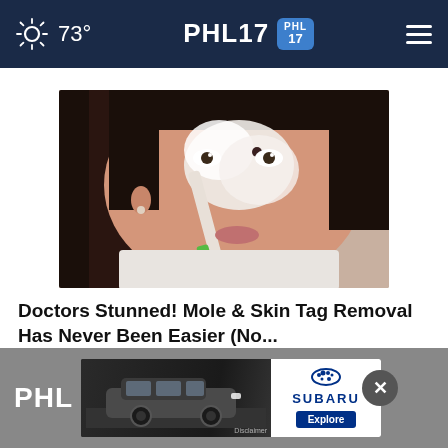73° PHL17
[Figure (photo): Woman applying white cream/product to her face/nose with a toothbrush, holding it up to camera, skin care advertisement image]
Doctors Stunned! Mole & Skin Tag Removal Has Never Been Easier (No...
Ad by Mole & Skin Tag Removal
[Figure (photo): Subaru SUV advertisement banner at bottom of page with Subaru logo and Explore button]
PHL